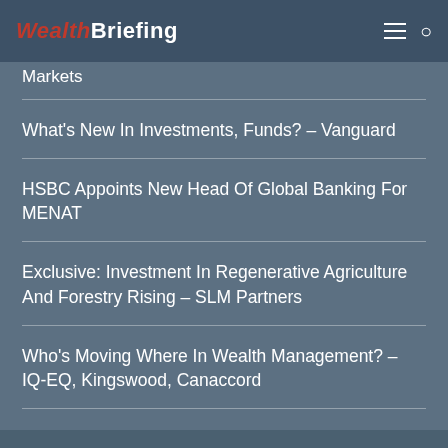WealthBriefing
Markets
What's New In Investments, Funds? – Vanguard
HSBC Appoints New Head Of Global Banking For MENAT
Exclusive: Investment In Regenerative Agriculture And Forestry Rising – SLM Partners
Who's Moving Where In Wealth Management? – IQ-EQ, Kingswood, Canaccord